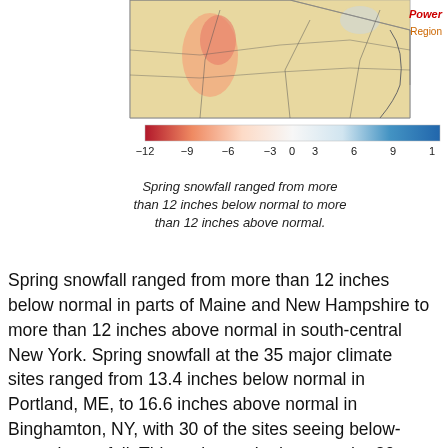[Figure (map): Partial map of northeastern United States showing spring snowfall anomalies, color-coded from red (below normal) to blue (above normal). Visible states include Maine, New Hampshire, New York, and surrounding areas. A color scale bar below shows values from -12 to 12 inches.]
Spring snowfall ranged from more than 12 inches below normal to more than 12 inches above normal.
Spring snowfall ranged from more than 12 inches below normal in parts of Maine and New Hampshire to more than 12 inches above normal in south-central New York. Spring snowfall at the 35 major climate sites ranged from 13.4 inches below normal in Portland, ME, to 16.6 inches above normal in Binghamton, NY, with 30 of the sites seeing below-normal snowfall. This spring ranked among the 20 least snowy on record for four major climate sites but among the 20 snowiest for three